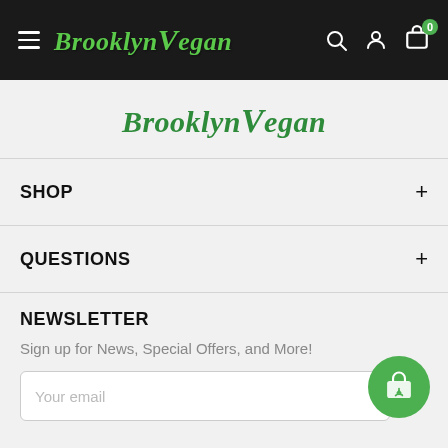Brooklyn Vegan — navigation bar with hamburger menu, logo, search, account, and cart icons
[Figure (logo): Brooklyn Vegan logo in green italic script, centered on white/gray background]
SHOP
QUESTIONS
NEWSLETTER
Sign up for News, Special Offers, and More!
Your email